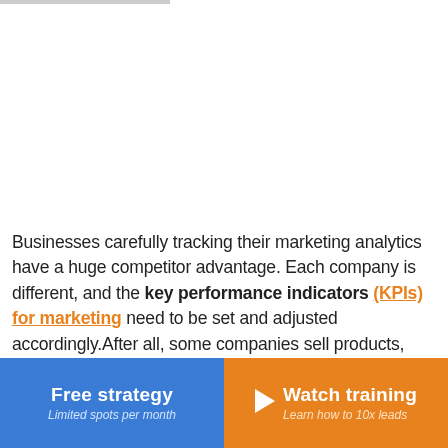Businesses carefully tracking their marketing analytics have a huge competitor advantage. Each company is different, and the key performance indicators (KPIs) for marketing need to be set and adjusted accordingly.After all, some companies sell products, while others sell services. Sales can be
Free strategy
Limited spots per month
Watch training
Learn how to 10x leads